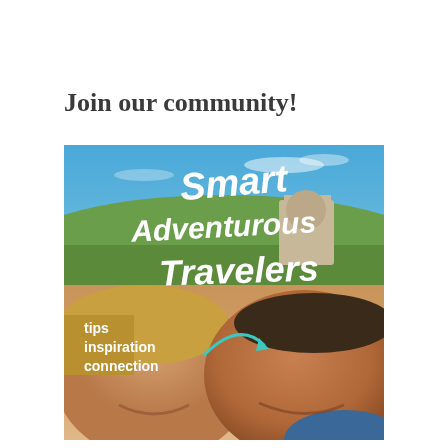Join our community!
[Figure (photo): A couple taking a selfie outdoors with blue sky and green landscape behind them. Overlaid text reads 'Smart Adventurous Travelers' in bold white handwritten-style font. Below that: 'tips inspiration connection' with a teal arrow.]